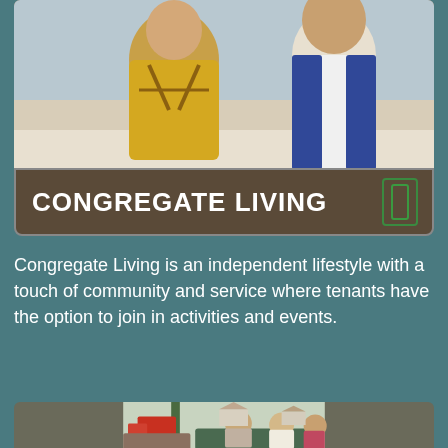[Figure (photo): Two elderly people on a boat, one wearing a yellow life vest]
CONGREGATE LIVING
Congregate Living is an independent lifestyle with a touch of community and service where tenants have the option to join in activities and events.
[Figure (photo): Three elderly people sitting outdoors, smiling, with a red truck and houses in the background]